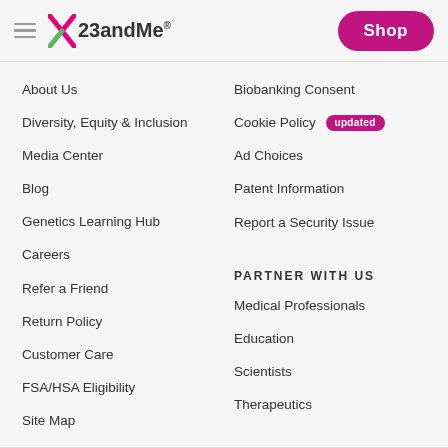23andMe — Shop
About Us
Diversity, Equity & Inclusion
Media Center
Blog
Genetics Learning Hub
Careers
Refer a Friend
Return Policy
Customer Care
FSA/HSA Eligibility
Site Map
Biobanking Consent
Cookie Policy [updated]
Ad Choices
Patent Information
Report a Security Issue
PARTNER WITH US
Medical Professionals
Education
Scientists
Therapeutics